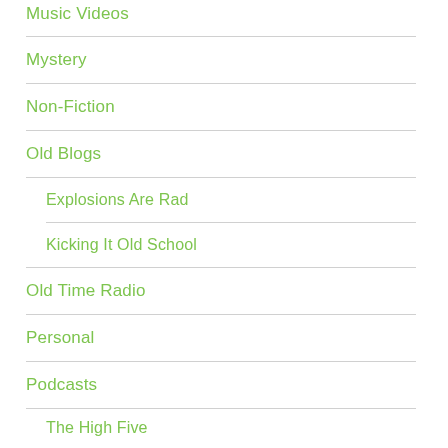Music Videos
Mystery
Non-Fiction
Old Blogs
Explosions Are Rad
Kicking It Old School
Old Time Radio
Personal
Podcasts
The High Five